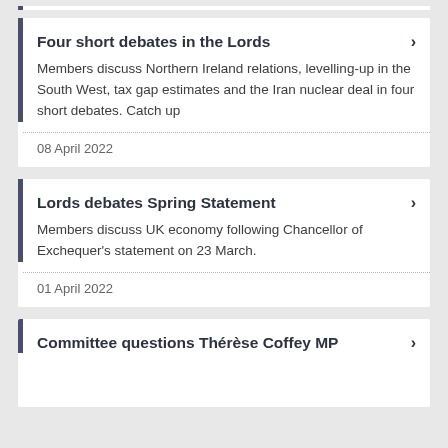Four short debates in the Lords — Members discuss Northern Ireland relations, levelling-up in the South West, tax gap estimates and the Iran nuclear deal in four short debates. Catch up — 08 April 2022
Lords debates Spring Statement — Members discuss UK economy following Chancellor of Exchequer's statement on 23 March. — 01 April 2022
Committee questions Thérèse Coffey MP